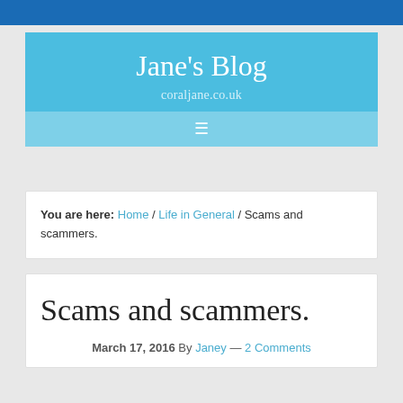Jane's Blog — coraljane.co.uk
You are here: Home / Life in General / Scams and scammers.
Scams and scammers.
March 17, 2016 By Janey — 2 Comments